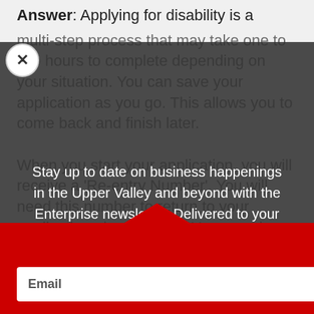Answer: Applying for disability is a
multi-step process that may take one to two hours to complete depending on your situation. You can save your application as you go. This allows you to come back and finish later.

When you start your application, you will receive a 'Re-entry Number'. You will need this number to return to your application electronically. You can also save and print a copy of your application.

After your completed application is submitted, your application Social Security will contact you with any updates or
Stay up to date on business happenings in the Upper Valley and beyond with the Enterprise newsletter. Delivered to your inbox once per week!
Email